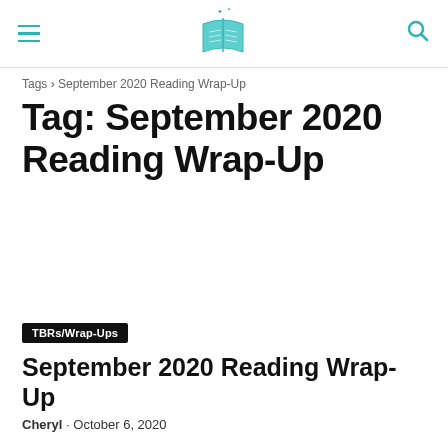[Figure (logo): Book blog logo: teal illustrated open book with sparkles above it, centered in header]
Tags › September 2020 Reading Wrap-Up
Tag: September 2020 Reading Wrap-Up
[Figure (photo): Large blog post featured image (mostly white/blank area)]
TBRs/Wrap-Ups
September 2020 Reading Wrap-Up
Cheryl · October 6, 2020